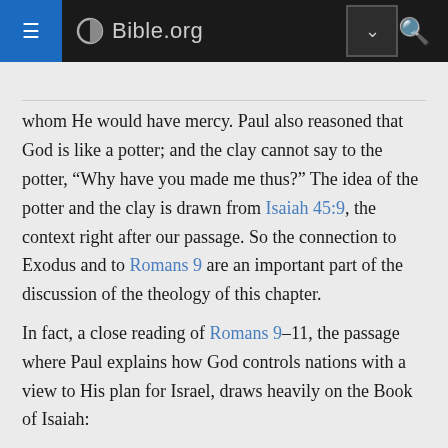Bible.org
whom He would have mercy. Paul also reasoned that God is like a potter; and the clay cannot say to the potter, “Why have you made me thus?” The idea of the potter and the clay is drawn from Isaiah 45:9, the context right after our passage. So the connection to Exodus and to Romans 9 are an important part of the discussion of the theology of this chapter.
In fact, a close reading of Romans 9—11, the passage where Paul explains how God controls nations with a view to His plan for Israel, draws heavily on the Book of Isaiah:
9:20 = Isaiah 29:16; 45:9 the potter and the clay